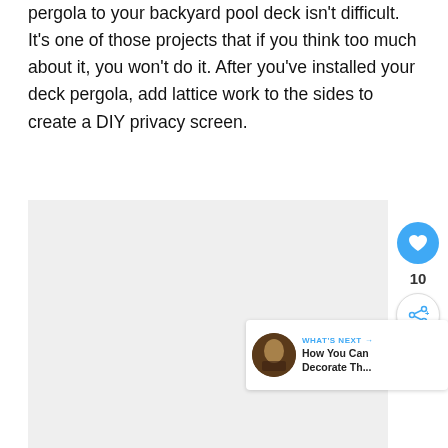pergola to your backyard pool deck isn't difficult. It's one of those projects that if you think too much about it, you won't do it. After you've installed your deck pergola, add lattice work to the sides to create a DIY privacy screen.
[Figure (photo): Light gray placeholder image area for a photo of a pergola or pool deck]
[Figure (screenshot): WHAT'S NEXT card with thumbnail: 'How You Can Decorate Th...']